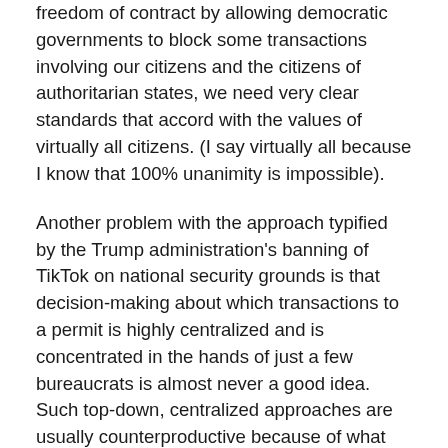freedom of contract by allowing democratic governments to block some transactions involving our citizens and the citizens of authoritarian states, we need very clear standards that accord with the values of virtually all citizens. (I say virtually all because I know that 100% unanimity is impossible).
Another problem with the approach typified by the Trump administration's banning of TikTok on national security grounds is that decision-making about which transactions to a permit is highly centralized and is concentrated in the hands of just a few bureaucrats is almost never a good idea. Such top-down, centralized approaches are usually counterproductive because of what Hayek called the Knowledge Problem and also the enhanced probabilities for bureaucratic self-interest that emerge whenever you entrust decisions to a small group of unelected officials.